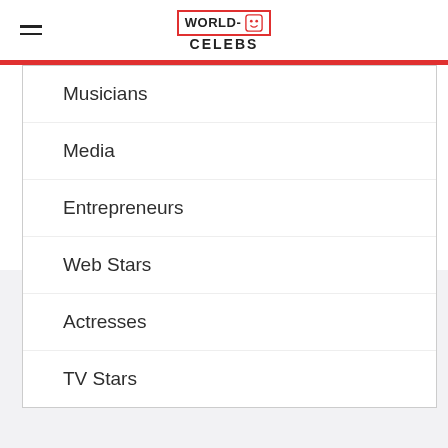WORLD-CELEBS
Musicians
Media
Entrepreneurs
Web Stars
Actresses
TV Stars